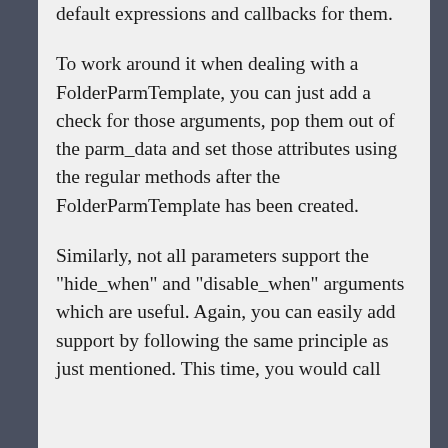default expressions and callbacks for them.
To work around it when dealing with a FolderParmTemplate, you can just add a check for those arguments, pop them out of the parm_data and set those attributes using the regular methods after the FolderParmTemplate has been created.
Similarly, not all parameters support the "hide_when" and "disable_when" arguments which are useful. Again, you can easily add support by following the same principle as just mentioned. This time, you would call